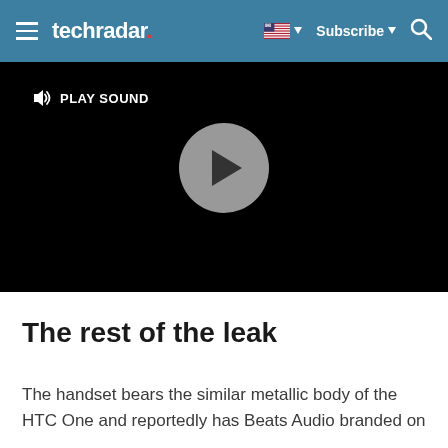techradar  Subscribe
[Figure (screenshot): Video player with black background, a circular play button in the center, and a 'PLAY SOUND' button with speaker icon in the top left corner]
The rest of the leak
The handset bears the similar metallic body of the HTC One and reportedly has Beats Audio branded on